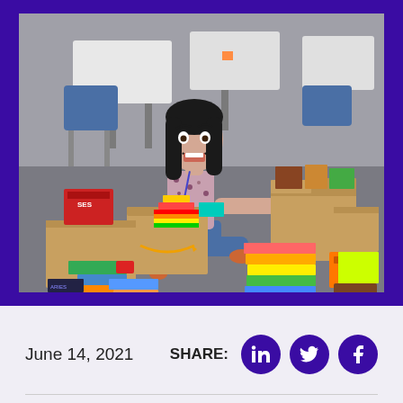[Figure (photo): A woman sitting on the floor of a classroom, surrounded by Amazon boxes and many books, looking excited with her mouth open in surprise. School desks and chairs are visible in the background.]
June 14, 2021
SHARE: